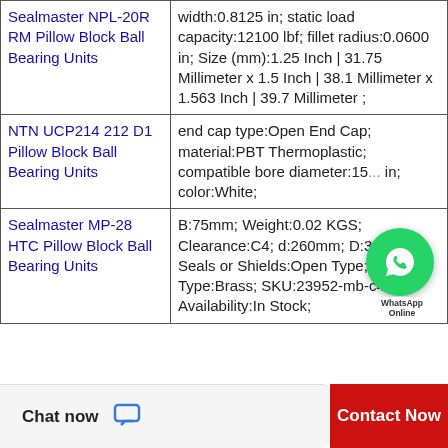| Product | Specifications |
| --- | --- |
| Sealmaster NPL-20R RM Pillow Block Ball Bearing Units | width:0.8125 in; static load capacity:12100 lbf; fillet radius:0.0600 in; Size (mm):1.25 Inch | 31.75 Millimeter x 1.5 Inch | 38.1 Millimeter x 1.563 Inch | 39.7 Millimeter ; |
| NTN UCP214 212 D1 Pillow Block Ball Bearing Units | end cap type:Open End Cap; material:PBT Thermoplastic; compatible bore diameter:15... in; color:White; |
| Sealmaster MP-28 HTC Pillow Block Ball Bearing Units | B:75mm; Weight:0.02 KGS; Clearance:C4; d:260mm; D:360mm; Seals or Shields:Open Type; Cage Type:Brass; SKU:23952-mb-c4-qbl; Availability:In Stock; |
[Figure (logo): WhatsApp green circle logo badge with label 'WhatsApp Online']
Chat now
Contact Now